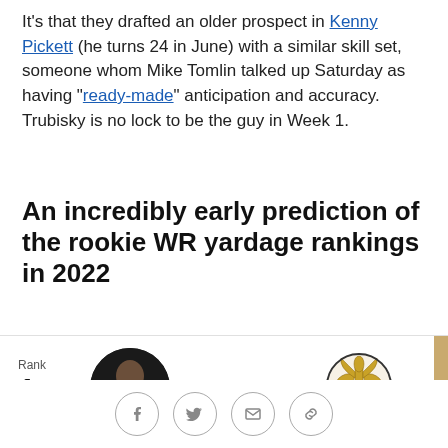It's that they drafted an older prospect in Kenny Pickett (he turns 24 in June) with a similar skill set, someone whom Mike Tomlin talked up Saturday as having "ready-made" anticipation and accuracy. Trubisky is no lock to be the guy in Week 1.
An incredibly early prediction of the rookie WR yardage rankings in 2022
[Figure (infographic): Ranking card showing Rank 1, Chris Olave, New Orleans Saints, Ohio State. Player headshot on left, Saints fleur-de-lis logo on right, gold sidebar bar on far right.]